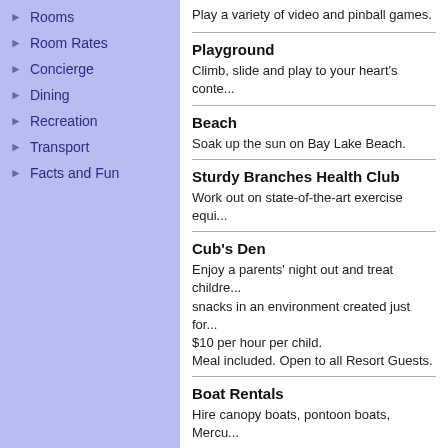Rooms
Room Rates
Concierge
Dining
Recreation
Transport
Facts and Fun
Play a variety of video and pinball games.
Playground
Climb, slide and play to your heart's content.
Beach
Soak up the sun on Bay Lake Beach.
Sturdy Branches Health Club
Work out on state-of-the-art exercise equi...
Cub's Den
Enjoy a parents' night out and treat childre... snacks in an environment created just for... $10 per hour per child.
Meal included. Open to all Resort Guests.
Boat Rentals
Hire canopy boats, pontoon boats, Mercu...
Bike Rentals